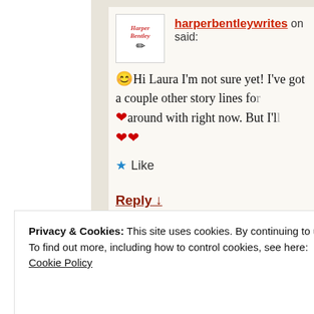harperbentleywrites on said:
😊Hi Laura I'm not sure yet! I've got a couple other story lines for ❤ around with right now. But I'll ❤❤
★ Like
Reply ↓
Privacy & Cookies: This site uses cookies. By continuing to use this website, you agree to their use.
To find out more, including how to control cookies, see here:
Cookie Policy
Close and accept